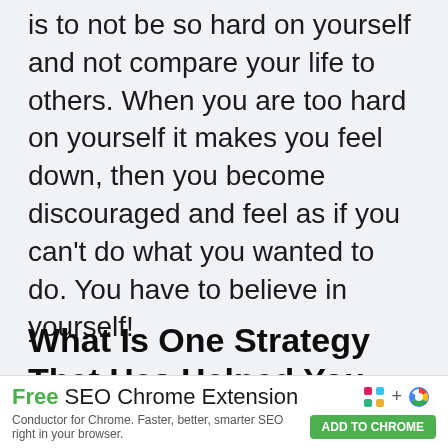is to not be so hard on yourself and not compare your life to others. When you are too hard on yourself it makes you feel down, then you become discouraged and feel as if you can't do what you wanted to do. You have to believe in yourself!
What Is One Strategy That Has Helped You Grow Your Business? Please Explain How.
[Figure (other): Advertisement banner: 'Free SEO Chrome Extension' by Conductor for Chrome with ADD TO CHROME button]